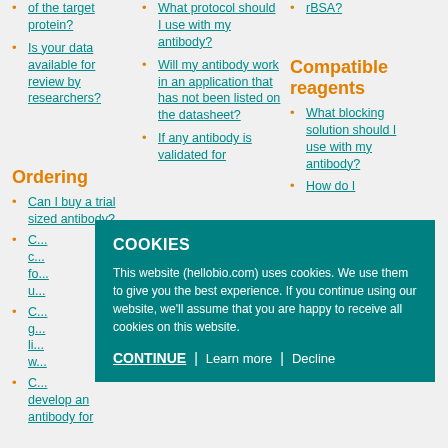of the target protein?
Is your data available for review by researchers?
What protocol should I use with my antibody?
Will my antibody work in an application that has not been listed on the datasheet?
If any antibody is validated for
rBSA?
Compatible reagents
What blocking solution should I use with my antibody?
How do I
Ordering
Can I buy a trial sized antibody?
C... [partially hidden]
C... [partially hidden, group list]
C... develop an antibody for
ntrol body? [partially hidden]
on should I use my [partially hidden]
COOKIES
This website (hellobio.com) uses cookies. We use them to give you the best experience. If you continue using our website, we'll assume that you are happy to receive all cookies on this website.
CONTINUE | Learn more | Decline